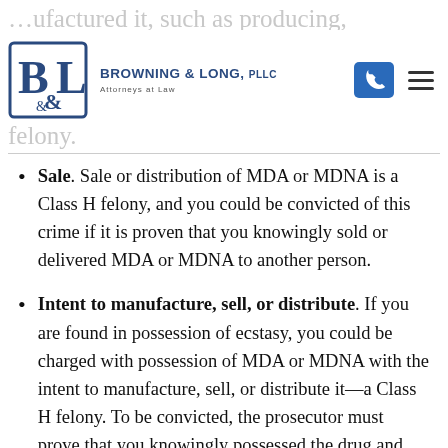Browning & Long, PLLC — Attorneys at Law
…ufactured it, such as producing, preparing, … This is also a … felony.
Sale. Sale or distribution of MDA or MDNA is a Class H felony, and you could be convicted of this crime if it is proven that you knowingly sold or delivered MDA or MDNA to another person.
Intent to manufacture, sell, or distribute. If you are found in possession of ecstasy, you could be charged with possession of MDA or MDNA with the intent to manufacture, sell, or distribute it—a Class H felony. To be convicted, the prosecutor must prove that you knowingly possessed the drug and had the intent to manufacture, sell, or